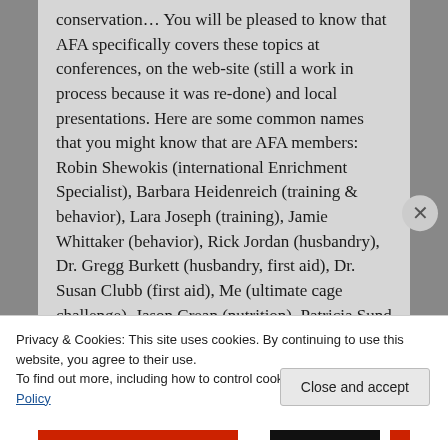conservation… You will be pleased to know that AFA specifically covers these topics at conferences, on the web-site (still a work in process because it was re-done) and local presentations. Here are some common names that you might know that are AFA members: Robin Shewokis (international Enrichment Specialist), Barbara Heidenreich (training & behavior), Lara Joseph (training), Jamie Whittaker (behavior), Rick Jordan (husbandry), Dr. Gregg Burkett (husbandry, first aid), Dr. Susan Clubb (first aid), Me (ultimate cage challenge), Jason Crean (nutrition), Patricia Sund (chop), Linda Rubin (physical standards), there are more but I just
Privacy & Cookies: This site uses cookies. By continuing to use this website, you agree to their use.
To find out more, including how to control cookies, see here: Cookie Policy